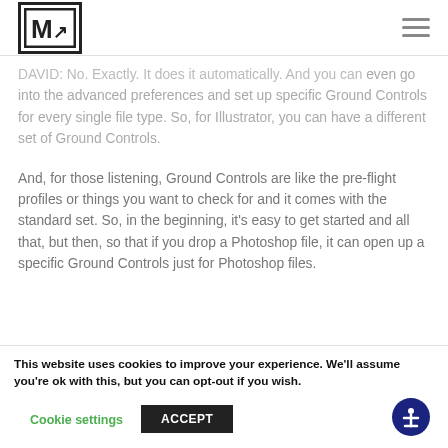[M↗] logo and hamburger menu
DAVID: No. Exactly. It does it automatically. And you can even go into the advanced preferences and set up specific Ground Controls for every single file type. So, for Illustrator, you can have a different set of Ground Controls.
And, for those listening, Ground Controls are like the pre-flight profiles or things you want to check for and it comes with the standard set. So, in the beginning, it's easy to get started and all that, but then, so that if you drop a Photoshop file, it can open up a specific Ground Controls just for Photoshop files.
This website uses cookies to improve your experience. We'll assume you're ok with this, but you can opt-out if you wish. Cookie settings ACCEPT